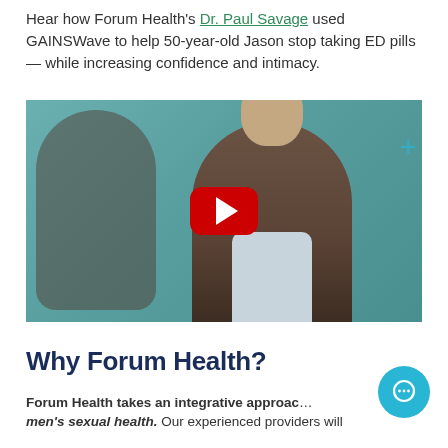Hear how Forum Health's Dr. Paul Savage used GAINSWave to help 50-year-old Jason stop taking ED pills — while increasing confidence and intimacy.
[Figure (photo): Video thumbnail showing a man in a brown blazer being interviewed, with a woman in the background. A red YouTube play button is overlaid in the center.]
Why Forum Health?
Forum Health takes an integrative approach to men's sexual health. Our experienced providers will